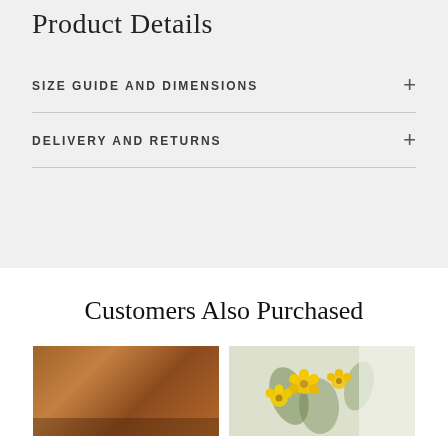Product Details
SIZE GUIDE AND DIMENSIONS
DELIVERY AND RETURNS
Customers Also Purchased
[Figure (photo): Close-up photo of a wooden surface or wooden product, warm brown tones]
[Figure (photo): Photo of a floral arrangement or product with yellow flowers on a light background]